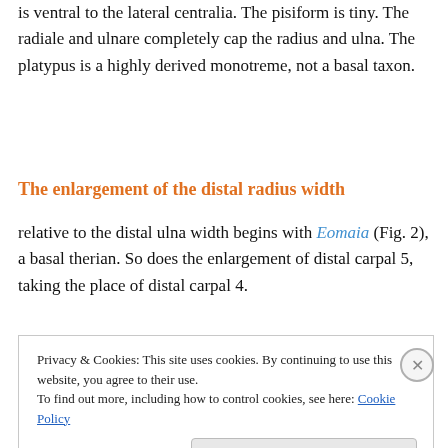is ventral to the lateral centralia. The pisiform is tiny. The radiale and ulnare completely cap the radius and ulna. The platypus is a highly derived monotreme, not a basal taxon.
The enlargement of the distal radius width
relative to the distal ulna width begins with Eomaia (Fig. 2), a basal therian. So does the enlargement of distal carpal 5, taking the place of distal carpal 4.
Privacy & Cookies: This site uses cookies. By continuing to use this website, you agree to their use.
To find out more, including how to control cookies, see here: Cookie Policy
Close and accept